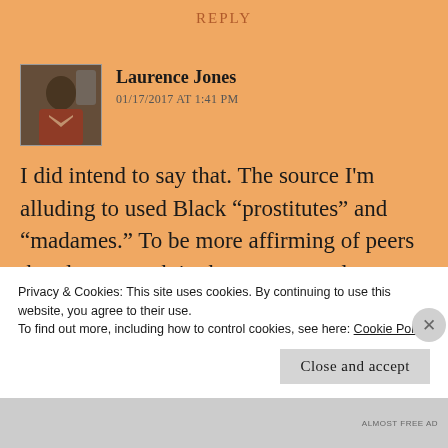REPLY
Laurence Jones
01/17/2017 AT 1:41 PM
I did intend to say that. The source I'm alluding to used Black "prostitutes" and "madames." To be more affirming of peers that do sex work in the present, and to
Privacy & Cookies: This site uses cookies. By continuing to use this website, you agree to their use.
To find out more, including how to control cookies, see here: Cookie Policy
Close and accept